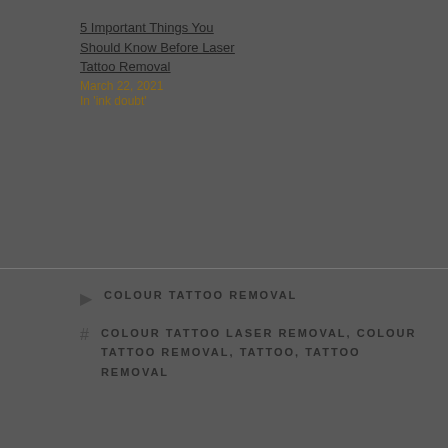5 Important Things You Should Know Before Laser Tattoo Removal
March 22, 2021
In 'ink doubt'
COLOUR TATTOO REMOVAL
COLOUR TATTOO LASER REMOVAL, COLOUR TATTOO REMOVAL, TATTOO, TATTOO REMOVAL